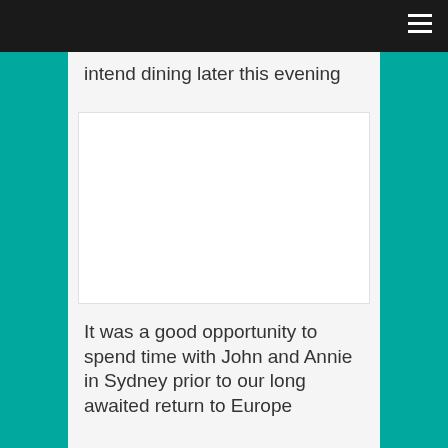intend dining later this evening
[Figure (photo): Blank/white photo placeholder image]
It was a good opportunity to spend time with John and Annie in Sydney prior to our long awaited return to Europe
[Figure (photo): Partially visible photo placeholder at bottom of page]